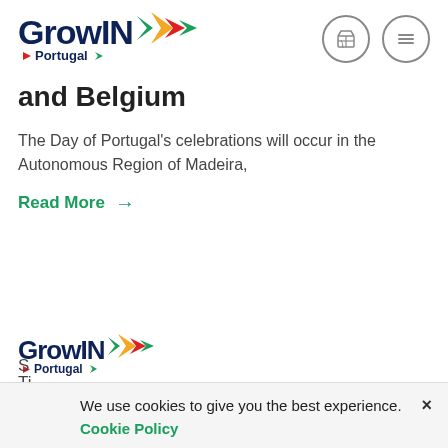[Figure (logo): GrowIN Portugal logo with colorful arrow chevrons (green, yellow, red) and navy text, plus two circular icon buttons (marketplace and hamburger menu)]
and Belgium
The Day of Portugal's celebrations will occur in the Autonomous Region of Madeira,
Read More →
[Figure (logo): GrowIN Portugal logo (smaller version) with colorful arrow chevrons]
We use cookies to give you the best experience.  ×
Cookie Policy